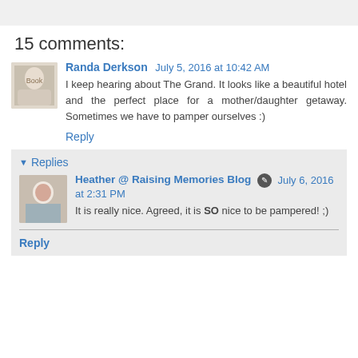15 comments:
Randa Derkson July 5, 2016 at 10:42 AM
I keep hearing about The Grand. It looks like a beautiful hotel and the perfect place for a mother/daughter getaway. Sometimes we have to pamper ourselves :)
Reply
Replies
Heather @ Raising Memories Blog July 6, 2016 at 2:31 PM
It is really nice. Agreed, it is SO nice to be pampered! ;)
Reply